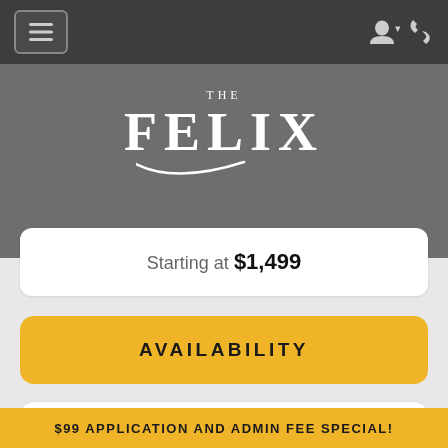[Figure (screenshot): Mobile app navigation bar with hamburger menu and user/phone icons on dark gray background]
THE FELIX
Starting at $1,499
AVAILABILITY
A2
1 Bed  1 Bath  701 Sq.Ft.
$99 APPLICATION AND ADMIN FEE SPECIAL!